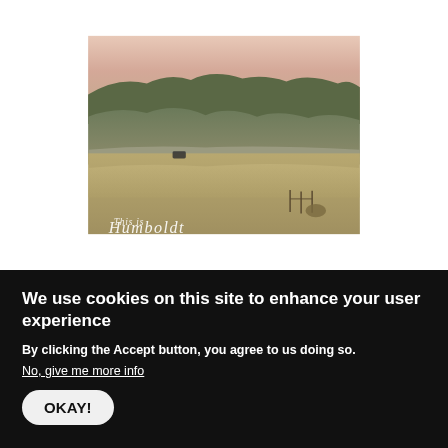[Figure (photo): Landscape photo of rolling hills and fields at dusk/dawn with soft pink sky, trees in background, a vehicle on a road in the middle distance, and cursive script text 'This is Humboldt' overlaid at the bottom of the image.]
We use cookies on this site to enhance your user experience
By clicking the Accept button, you agree to us doing so.
No, give me more info
OKAY!